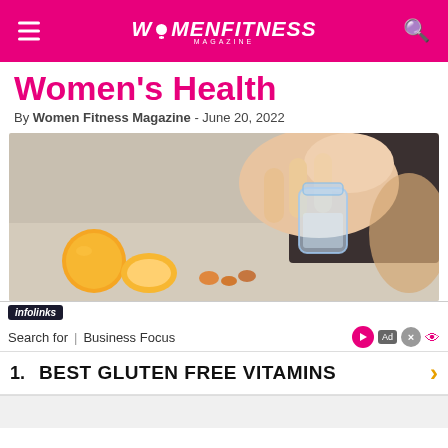WOMENFITNESS MAGAZINE
Women's Health
By Women Fitness Magazine - June 20, 2022
[Figure (photo): Hands holding a glass jar with vitamins/supplements, an orange and citrus fruits visible on a table in the background]
infolinks
Search for | Business Focus
1. BEST GLUTEN FREE VITAMINS